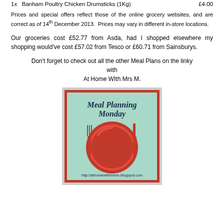1x  Banham Poultry Chicken Drumsticks (1Kg)   £4.00
Prices and special offers reflect those of the online grocery websites, and are correct as of 14th December 2013. Prices may vary in different in-store locations.
Our groceries cost £52.77 from Asda, had I shopped elsewhere my shopping would've cost £57.02 from Tesco or £60.71 from Sainsburys.
Don't forget to check out all the other Meal Plans on the linky with At Home WIth Mrs M.
[Figure (illustration): Meal Planning Monday badge/logo with light blue background, red border, showing a red plate with fork and knife, and text 'Meal Planning Monday' in dark script, URL http://athomewithmrsm.blogspot.com at bottom]